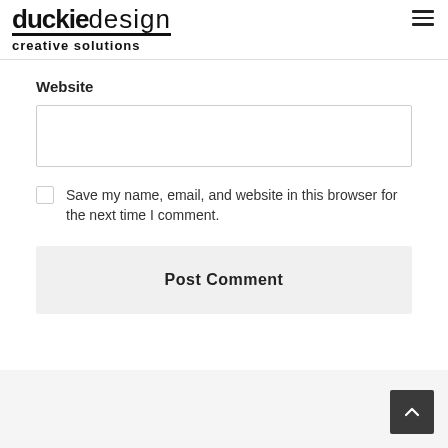[Figure (logo): duckiedesign creative solutions logo with menu icon]
Website
[Figure (screenshot): Empty text input field for website URL]
Save my name, email, and website in this browser for the next time I comment.
[Figure (screenshot): Post Comment button]
[Figure (screenshot): Scroll to top button in bottom right corner]